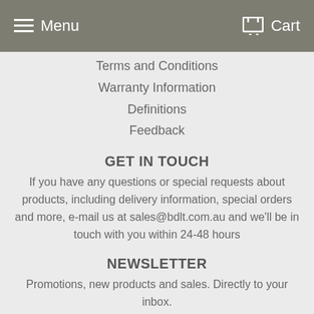Menu   Cart
Terms and Conditions
Warranty Information
Definitions
Feedback
GET IN TOUCH
If you have any questions or special requests about products, including delivery information, special orders and more, e-mail us at sales@bdlt.com.au and we'll be in touch with you within 24-48 hours
NEWSLETTER
Promotions, new products and sales. Directly to your inbox.
Email Address   SIGN UP